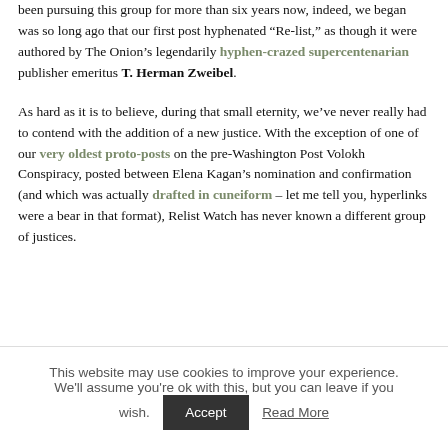been pursuing this group for more than six years now, indeed, we began was so long ago that our first post hyphenated “Re-list,” as though it were authored by The Onion’s legendarily hyphen-crazed supercentenarian publisher emeritus T. Herman Zweibel.
As hard as it is to believe, during that small eternity, we’ve never really had to contend with the addition of a new justice. With the exception of one of our very oldest proto-posts on the pre-Washington Post Volokh Conspiracy, posted between Elena Kagan’s nomination and confirmation (and which was actually drafted in cuneiform – let me tell you, hyperlinks were a bear in that format), Relist Watch has never known a different group of justices.
This website may use cookies to improve your experience. We'll assume you're ok with this, but you can leave if you wish.